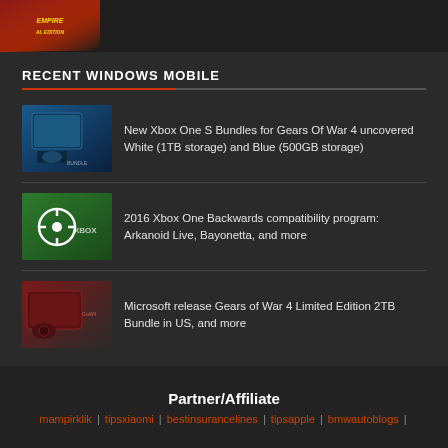[Figure (photo): Partial game box art image in top left corner, dark red tones]
RECENT WINDOWS MOBILE
[Figure (photo): Blue/teal Xbox One S console bundle box]
New Xbox One S Bundles for Gears Of War 4 uncovered White (1TB storage) and Blue (500GB storage)
[Figure (photo): Green Xbox branded surface with Xbox logo]
2016 Xbox One Backwards compatibility program: Arkanoid Live, Bayonetta, and more
[Figure (photo): Dark red Gears of War 4 Limited Edition Xbox One console bundle]
Microsoft release Gears of War 4 Limited Edition 2TB Bundle in US, and more
Partner/Affiliate
mampirklik | tipsxiaomi | bestinsurancelines | tipsapple | bmwautoblogs |